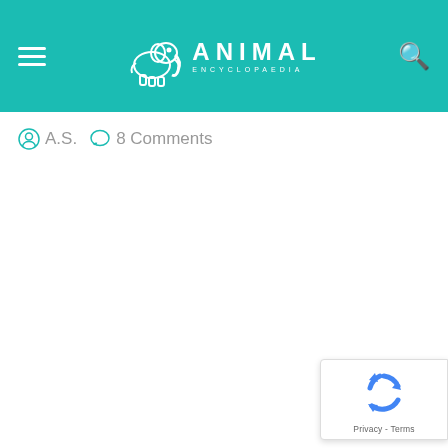ANIMAL ENCYCLOPAEDIA
A.S.   8 Comments
[Figure (logo): Google reCAPTCHA badge with recycling arrow icon, Privacy and Terms links]